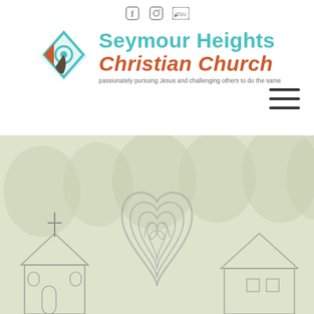[Figure (logo): Social media icons: Facebook, Instagram, YouTube]
[Figure (logo): Seymour Heights Christian Church logo with colorful geometric mark and church name. Tagline: passionately pursuing Jesus and challenging others to do the same]
[Figure (illustration): Hamburger menu icon (three horizontal lines)]
[Figure (photo): Hero image showing a church building with cross, heart/labyrinth symbol, and rooftop outlines overlaid on a faded forest/tree background]